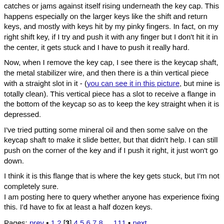catches or jams against itself rising underneath the key cap. This happens especially on the larger keys like the shift and return keys, and mostly with keys hit by my pinky fingers. In fact, on my right shift key, if I try and push it with any finger but I don't hit it in the center, it gets stuck and I have to push it really hard.
Now, when I remove the key cap, I see there is the keycap shaft, the metal stabilizer wire, and then there is a thin vertical piece with a straight slot in it - (you can see it in this picture, but mine is totally clean). This vertical piece has a slot to receive a flange in the bottom of the keycap so as to keep the key straight when it is depressed.
I've tried putting some mineral oil and then some salve on the keycap shaft to make it slide better, but that didn't help. I can still push on the corner of the key and if I push it right, it just won't go down.
I think it is this flange that is where the key gets stuck, but I'm not completely sure.
I am posting here to query whether anyone has experience fixing this. I'd have to fix at least a half dozen keys.
Pages: prev • 1 2 [3] 4 5 6 7 8 ... 111 • next
Go to full version